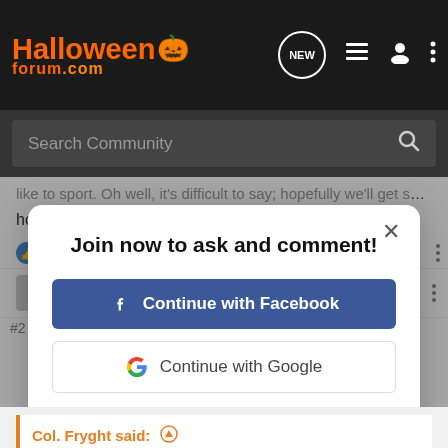HalloweenForum.com
Search Community
like to sport. Oh well, it's difficult to say; hopefully we'll get some more opportunities to try.
MCR and Kdestra
Join now to ask and comment!
Continue with Facebook
Continue with Google
or sign up with email
#2
Col. Fryght said: ↑
Wow, a lot of traffic tonight. Well, I pollinated a pumpkin this morning.